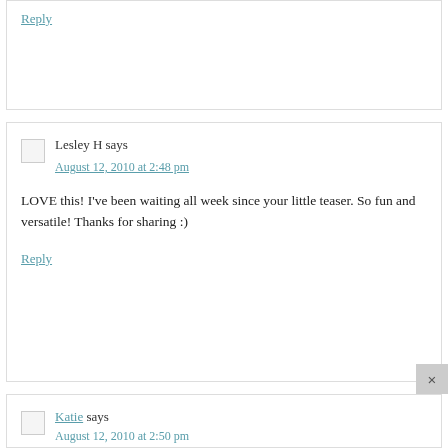Reply
Lesley H says
August 12, 2010 at 2:48 pm
LOVE this! I've been waiting all week since your little teaser. So fun and versatile! Thanks for sharing :)
Reply
Katie says
August 12, 2010 at 2:50 pm